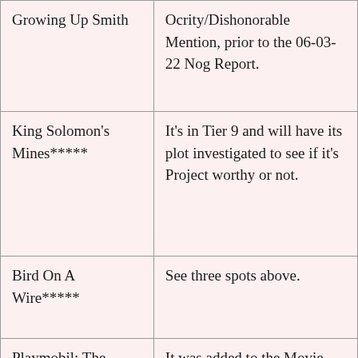| Film | Notes |
| --- | --- |
| Growing Up Smith | Ocrity/Dishonorable Mention, prior to the 06-03-22 Nog Report. |
| King Solomon's Mines***** | It's in Tier 9 and will have its plot investigated to see if it's Project worthy or not. |
| Bird On A Wire***** | See three spots above. |
| Playmobil: The Movie | It was added to the Movie-Ocrity/Dishonorable Mention page, prior |